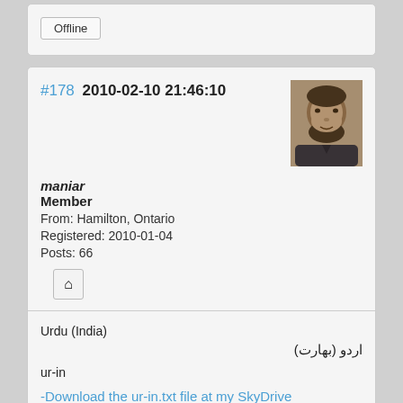Offline
#178  2010-02-10 21:46:10
[Figure (photo): Sepia-toned avatar photo of a bearded man]
maniar
Member
From: Hamilton, Ontario
Registered: 2010-01-04
Posts: 66
Urdu (India)
اردو (بھارت)
ur-in
-Download the ur-in.txt file at my SkyDrive